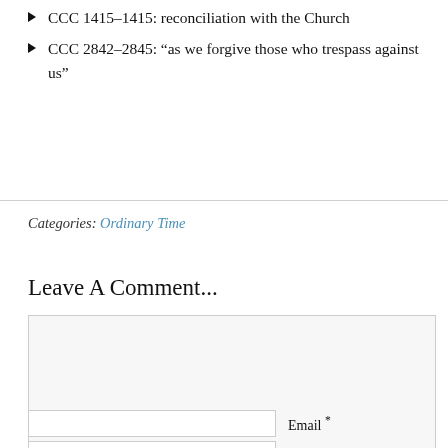CCC 1415-1415: reconciliation with the Church
CCC 2842-2845: "as we forgive those who trespass against us"
Categories: Ordinary Time
Leave A Comment...
[Figure (other): Comment text area input box, empty, light gray background]
Name *
Email *
Website